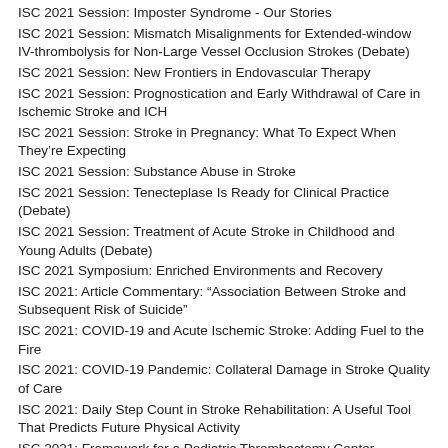ISC 2021 Session: Imposter Syndrome - Our Stories
ISC 2021 Session: Mismatch Misalignments for Extended-window IV-thrombolysis for Non-Large Vessel Occlusion Strokes (Debate)
ISC 2021 Session: New Frontiers in Endovascular Therapy
ISC 2021 Session: Prognostication and Early Withdrawal of Care in Ischemic Stroke and ICH
ISC 2021 Session: Stroke in Pregnancy: What To Expect When They're Expecting
ISC 2021 Session: Substance Abuse in Stroke
ISC 2021 Session: Tenecteplase Is Ready for Clinical Practice (Debate)
ISC 2021 Session: Treatment of Acute Stroke in Childhood and Young Adults (Debate)
ISC 2021 Symposium: Enriched Environments and Recovery
ISC 2021: Article Commentary: “Association Between Stroke and Subsequent Risk of Suicide”
ISC 2021: COVID-19 and Acute Ischemic Stroke: Adding Fuel to the Fire
ISC 2021: COVID-19 Pandemic: Collateral Damage in Stroke Quality of Care
ISC 2021: Daily Step Count in Stroke Rehabilitation: A Useful Tool That Predicts Future Physical Activity
ISC 2021: Framework for a Pediatric Thrombectomy Center
ISC 2021: Ischemic Stroke is Not Only a Rankin Scale: Endovascular Treatment and Quality of Life
ISC 2021: Novel Imaging Techniques in ICAD – Beyond the Stenosis